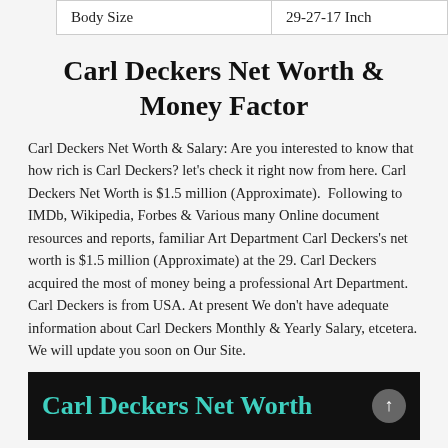| Body Size | 29-27-17 Inch |
Carl Deckers Net Worth & Money Factor
Carl Deckers Net Worth & Salary: Are you interested to know that how rich is Carl Deckers? let's check it right now from here. Carl Deckers Net Worth is $1.5 million (Approximate).  Following to IMDb, Wikipedia, Forbes & Various many Online document resources and reports, familiar Art Department Carl Deckers's net worth is $1.5 million (Approximate) at the 29. Carl Deckers acquired the most of money being a professional Art Department. Carl Deckers is from USA. At present We don't have adequate information about Carl Deckers Monthly & Yearly Salary, etcetera. We will update you soon on Our Site.
[Figure (other): Black banner with teal bold text 'Carl Deckers Net Worth' and a scroll-up arrow button on the right]